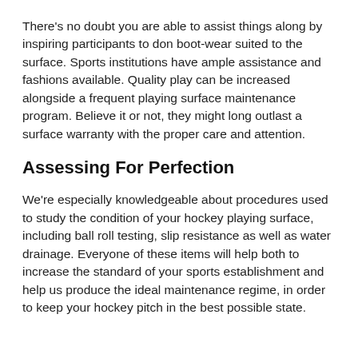There's no doubt you are able to assist things along by inspiring participants to don boot-wear suited to the surface. Sports institutions have ample assistance and fashions available. Quality play can be increased alongside a frequent playing surface maintenance program. Believe it or not, they might long outlast a surface warranty with the proper care and attention.
Assessing For Perfection
We're especially knowledgeable about procedures used to study the condition of your hockey playing surface, including ball roll testing, slip resistance as well as water drainage. Everyone of these items will help both to increase the standard of your sports establishment and help us produce the ideal maintenance regime, in order to keep your hockey pitch in the best possible state.